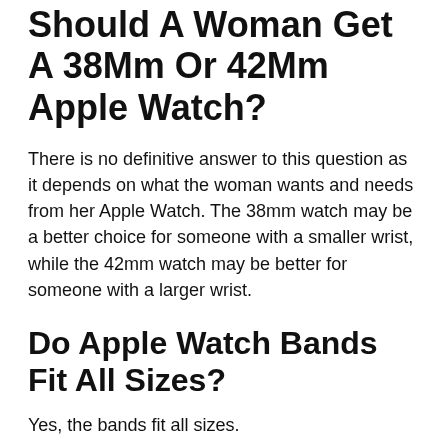Should A Woman Get A 38Mm Or 42Mm Apple Watch?
There is no definitive answer to this question as it depends on what the woman wants and needs from her Apple Watch. The 38mm watch may be a better choice for someone with a smaller wrist, while the 42mm watch may be better for someone with a larger wrist.
Do Apple Watch Bands Fit All Sizes?
Yes, the bands fit all sizes.